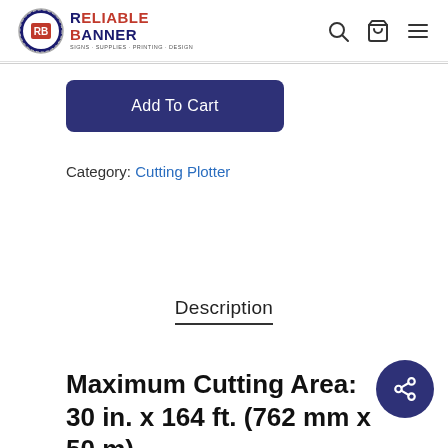[Figure (logo): Reliable Banner logo with circular badge and text showing RELIABLE BANNER with tagline]
[Figure (infographic): Navigation icons: search magnifying glass, shopping bag, hamburger menu]
Add To Cart
Category: Cutting Plotter
Description
Maximum Cutting Area: 30 in. x 164 ft. (762 mm x 50 m)